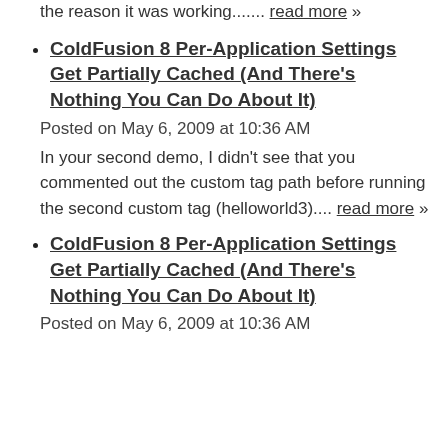the reason it was working....... read more »
ColdFusion 8 Per-Application Settings Get Partially Cached (And There's Nothing You Can Do About It)
Posted on May 6, 2009 at 10:36 AM
In your second demo, I didn't see that you commented out the custom tag path before running the second custom tag (helloworld3).... read more »
ColdFusion 8 Per-Application Settings Get Partially Cached (And There's Nothing You Can Do About It)
Posted on May 6, 2009 at 10:36 AM